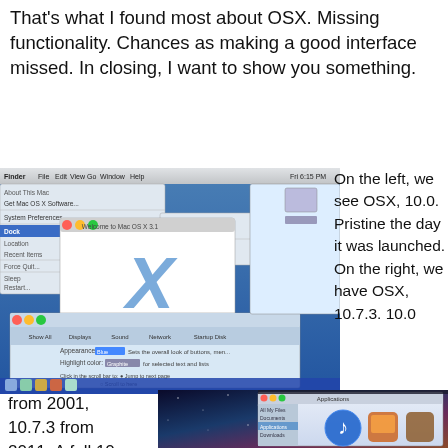That's what I found most about OSX. Missing functionality. Chances as making a good interface missed. In closing, I want to show you something.
[Figure (screenshot): Screenshot of Mac OS X 10.0 desktop showing Finder menu with Dock submenu open, Welcome to Mac OS X splash, and System Preferences window with blue Aqua theme]
On the left, we see OSX, 10.0. Pristine the day it was launched. On the right, we have OSX, 10.7.3. 10.0
from 2001, 10.7.3 from 2011. A full 10 years
[Figure (screenshot): Screenshot of Mac OS X 10.7.3 Lion desktop with galaxy/nebula wallpaper and iTunes/Finder windows open]